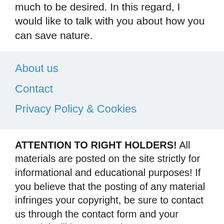much to be desired. In this regard, I would like to talk with you about how you can save nature.
About us
Contact
Privacy Policy & Cookies
ATTENTION TO RIGHT HOLDERS! All materials are posted on the site strictly for informational and educational purposes! If you believe that the posting of any material infringes your copyright, be sure to contact us through the contact form and your material will be removed!